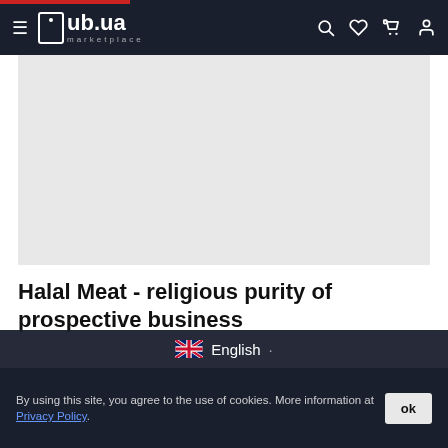ub.ua marketplace
[Figure (other): Gray advertisement/banner placeholder area]
Halal Meat - religious purity of prospective business
In Ukraine food market from time to time has some trends. In particular, in our time there is a
English
By using this site, you agree to the use of cookies. More information at Privacy Policy.